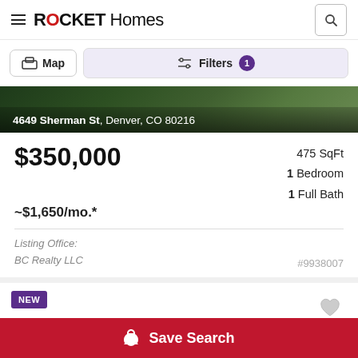ROCKET Homes
Map | Filters 1
[Figure (photo): Aerial or exterior photo of property at 4649 Sherman St, Denver, CO 80216]
4649 Sherman St, Denver, CO 80216
$350,000
475 SqFt
1 Bedroom
1 Full Bath
~$1,650/mo.*
#9938007
Listing Office:
BC Realty LLC
NEW
Save Search